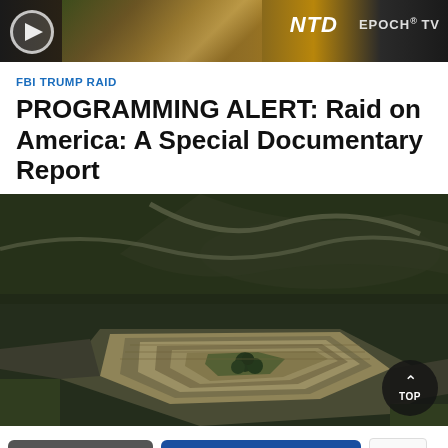[Figure (photo): NTD / Epoch TV banner with play button, NTD branding, and Epoch TV logo on a dark background with warm landscape tones]
FBI TRUMP RAID
PROGRAMMING ALERT: Raid on America: A Special Documentary Report
[Figure (photo): Aerial photograph of the Pentagon building in Arlington, Virginia, showing its distinctive five-sided shape surrounded by roads and greenery]
Share
Comments
Privacy · Terms